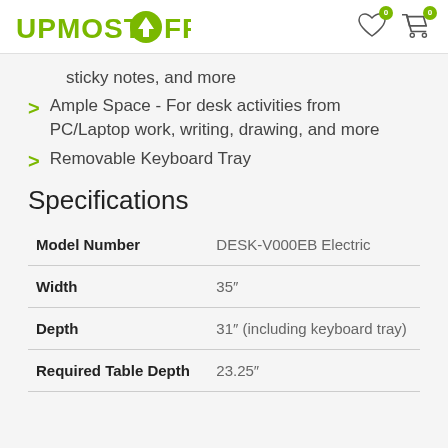UPMOST OFFICE
sticky notes, and more
Ample Space - For desk activities from PC/Laptop work, writing, drawing, and more
Removable Keyboard Tray
Specifications
|  |  |
| --- | --- |
| Model Number | DESK-V000EB Electric |
| Width | 35" |
| Depth | 31" (including keyboard tray) |
| Required Table Depth | 23.25" |